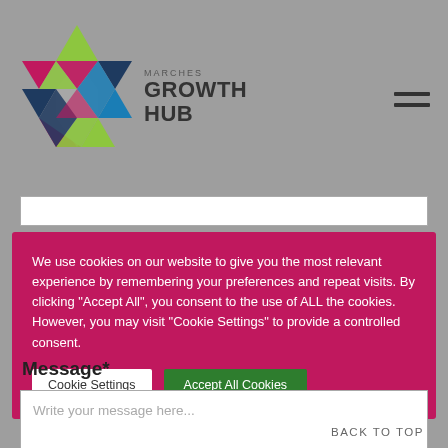[Figure (logo): Marches Growth Hub logo with colorful hexagonal star shape and text 'MARCHES GROWTH HUB']
We use cookies on our website to give you the most relevant experience by remembering your preferences and repeat visits. By clicking "Accept All", you consent to the use of ALL the cookies. However, you may visit "Cookie Settings" to provide a controlled consent.
Cookie Settings
Accept All Cookies
Message*
Write your message here...
BACK TO TOP